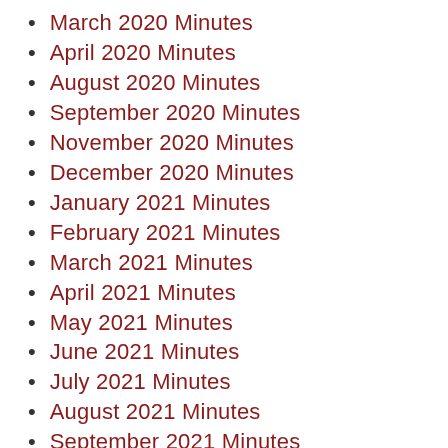March 2020 Minutes
April 2020 Minutes
August 2020 Minutes
September 2020 Minutes
November 2020 Minutes
December 2020 Minutes
January 2021 Minutes
February 2021 Minutes
March 2021 Minutes
April 2021 Minutes
May 2021 Minutes
June 2021 Minutes
July 2021 Minutes
August 2021 Minutes
September 2021 Minutes